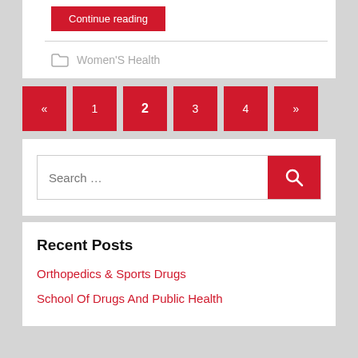Continue reading
Women'S Health
« 1 2 3 4 »
Search …
Recent Posts
Orthopedics & Sports Drugs
School Of Drugs And Public Health